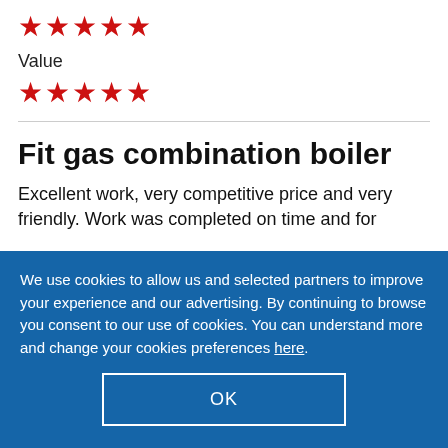[Figure (other): Five red star rating icons]
Value
[Figure (other): Five red star rating icons for Value]
Fit gas combination boiler
Excellent work, very competitive price and very friendly. Work was completed on time and for
We use cookies to allow us and selected partners to improve your experience and our advertising. By continuing to browse you consent to our use of cookies. You can understand more and change your cookies preferences here.
OK